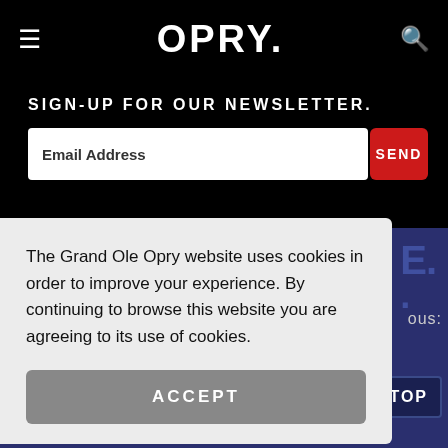≡  OPRY.  🔍
SIGN-UP FOR OUR NEWSLETTER.
Email Address
SEND
The Grand Ole Opry website uses cookies in order to improve your experience. By continuing to browse this website you are agreeing to its use of cookies.
ACCEPT